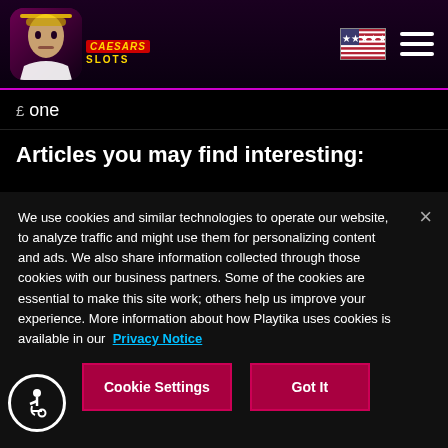[Figure (logo): Caesars Slots app logo with Caesar character and game branding in header]
one
Articles you may find interesting:
Slot Tournaments: How They Work & How to Win
Which Slot Machines Have the Best Odds?
We use cookies and similar technologies to operate our website, to analyze traffic and might use them for personalizing content and ads. We also share information collected through those cookies with our business partners. Some of the cookies are essential to make this site work; others help us improve your experience. More information about how Playtika uses cookies is available in our  Privacy Notice
Cookie Settings
Got It